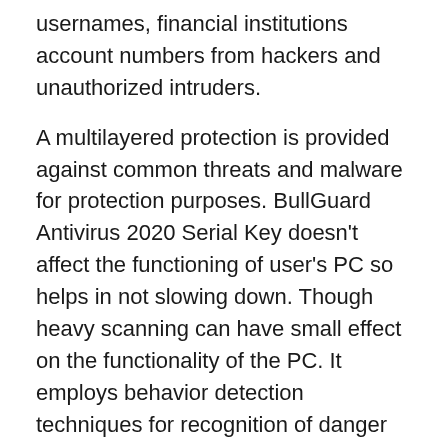usernames, financial institutions account numbers from hackers and unauthorized intruders.
A multilayered protection is provided against common threats and malware for protection purposes. BullGuard Antivirus 2020 Serial Key doesn't affect the functioning of user's PC so helps in not slowing down. Though heavy scanning can have small effect on the functionality of the PC. It employs behavior detection techniques for recognition of danger or new user. Moreover BullGuard Antivirus 2022 Activation Key also involves a security check into all links for example documentation, devices and Internet surfing etc. It is quite a possibility to use BullGuard Antivirus 2022 Crack keep a check and balance on all the workings of your PC. BullGuard Antivirus Crack latest version has many modifications that ensures improved security and control that in turn ensures it to be a better software for protection against any sort of